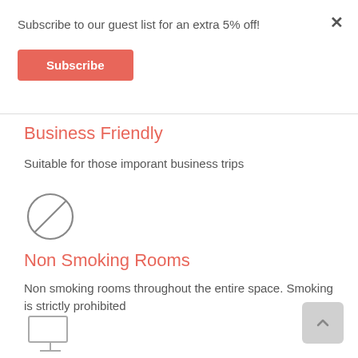Subscribe to our guest list for an extra 5% off!
Subscribe
Business Friendly
Suitable for those imporant business trips
[Figure (illustration): No-smoking circle icon with diagonal line through it]
Non Smoking Rooms
Non smoking rooms throughout the entire space. Smoking is strictly prohibited
[Figure (illustration): Computer monitor icon (desktop screen with stand)]